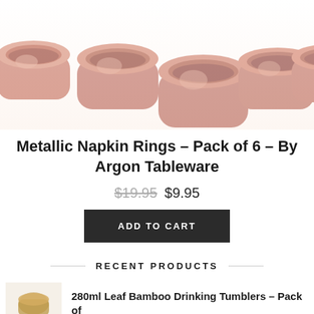[Figure (photo): Five rose gold/copper metallic napkin rings arranged in a row against a white background, viewed from slightly above.]
Metallic Napkin Rings – Pack of 6 – By Argon Tableware
$19.95  $9.95
ADD TO CART
RECENT PRODUCTS
280ml Leaf Bamboo Drinking Tumblers – Pack of